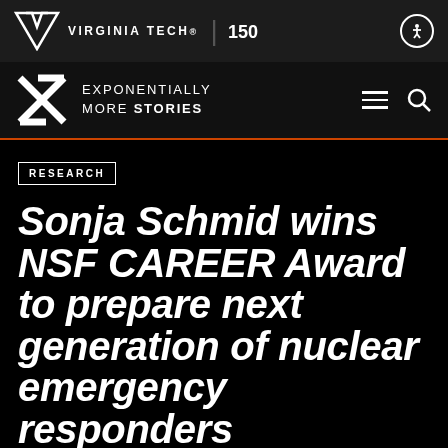VIRGINIA TECH® | 150 [anniversary logo]
EXPONENTIALLY MORE STORIES
RESEARCH
Sonja Schmid wins NSF CAREER Award to prepare next generation of nuclear emergency responders
15 SEP 2014